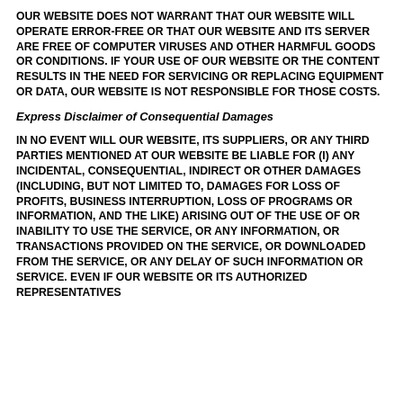OUR WEBSITE DOES NOT WARRANT THAT OUR WEBSITE WILL OPERATE ERROR-FREE OR THAT OUR WEBSITE AND ITS SERVER ARE FREE OF COMPUTER VIRUSES AND OTHER HARMFUL GOODS OR CONDITIONS. IF YOUR USE OF OUR WEBSITE OR THE CONTENT RESULTS IN THE NEED FOR SERVICING OR REPLACING EQUIPMENT OR DATA, OUR WEBSITE IS NOT RESPONSIBLE FOR THOSE COSTS.
Express Disclaimer of Consequential Damages
IN NO EVENT WILL OUR WEBSITE, ITS SUPPLIERS, OR ANY THIRD PARTIES MENTIONED AT OUR WEBSITE BE LIABLE FOR (I) ANY INCIDENTAL, CONSEQUENTIAL, INDIRECT OR OTHER DAMAGES (INCLUDING, BUT NOT LIMITED TO, DAMAGES FOR LOSS OF PROFITS, BUSINESS INTERRUPTION, LOSS OF PROGRAMS OR INFORMATION, AND THE LIKE) ARISING OUT OF THE USE OF OR INABILITY TO USE THE SERVICE, OR ANY INFORMATION, OR TRANSACTIONS PROVIDED ON THE SERVICE, OR DOWNLOADED FROM THE SERVICE, OR ANY DELAY OF SUCH INFORMATION OR SERVICE. EVEN IF OUR WEBSITE OR ITS AUTHORIZED REPRESENTATIVES